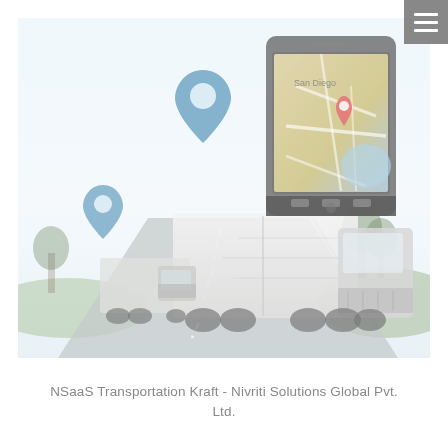[Figure (illustration): A faded/washed-out hero image showing trucks on a highway with blue map location pins and an Android smartphone displaying a map with GPS location markers. A hamburger menu icon appears in the top-right corner on a grey square background.]
NSaaS Transportation Kraft - Nivriti Solutions Global Pvt. Ltd.